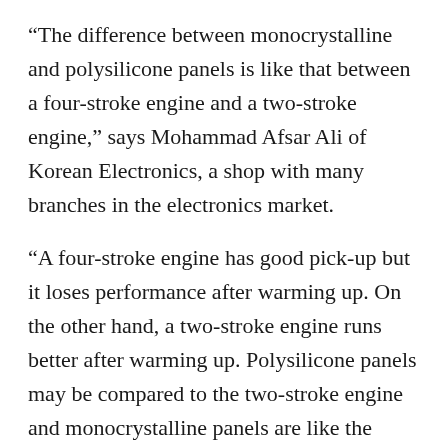“The difference between monocrystalline and polysilicone panels is like that between a four-stroke engine and a two-stroke engine,” says Mohammad Afsar Ali of Korean Electronics, a shop with many branches in the electronics market.
“A four-stroke engine has good pick-up but it loses performance after warming up. On the other hand, a two-stroke engine runs better after warming up. Polysilicone panels may be compared to the two-stroke engine and monocrystalline panels are like the four-stroke engine,” he explains.
Another way consumers can make their choice is to select which kind of system will work best for them. Among the more popular types is a hybrid system, which can be merged with the grid tie or a wind turbine to keep the batteries constantly charged at night.
“It also works for people who tend to be out of the house the